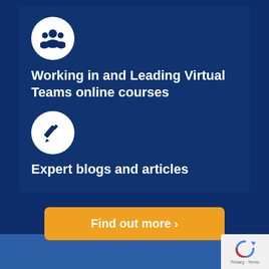[Figure (illustration): White circle icon with group/team silhouette icon in dark blue]
Working in and Leading Virtual Teams online courses
[Figure (illustration): White circle icon with pencil/edit icon in dark blue]
Expert blogs and articles
Find out more >
[Figure (logo): reCAPTCHA logo with Privacy and Terms text]